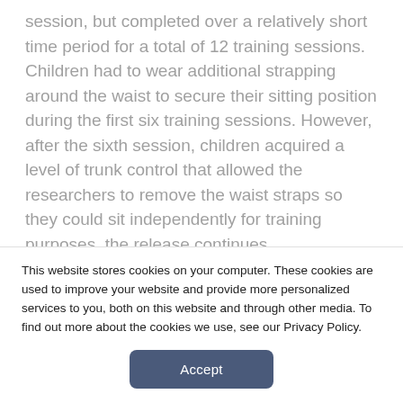session, but completed over a relatively short time period for a total of 12 training sessions. Children had to wear additional strapping around the waist to secure their sitting position during the first six training sessions. However, after the sixth session, children acquired a level of trunk control that allowed the researchers to remove the waist straps so they could sit independently for training purposes, the release continues.
“We wanted to scientifically demonstrate how
This website stores cookies on your computer. These cookies are used to improve your website and provide more personalized services to you, both on this website and through other media. To find out more about the cookies we use, see our Privacy Policy.